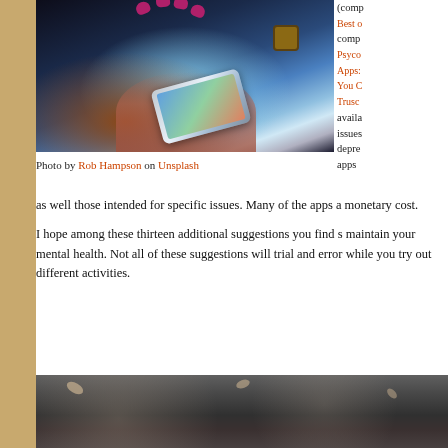[Figure (photo): Close-up photo of hands with purple/magenta nail polish holding a smartphone, partially illuminated in dark blue lighting, with a watch visible on wrist in background.]
Photo by Rob Hampson on Unsplash
(comp
Best o
comp
Psyco
Apps:
You C
Trusc
avail
issues
depre
apps
as well those intended for specific issues. Many of the apps a monetary cost.
I hope among these thirteen additional suggestions you find s maintain your mental health. Not all of these suggestions will trial and error while you try out different activities.
[Figure (photo): Close-up photo of dark asphalt/pavement ground with scattered dry leaves.]